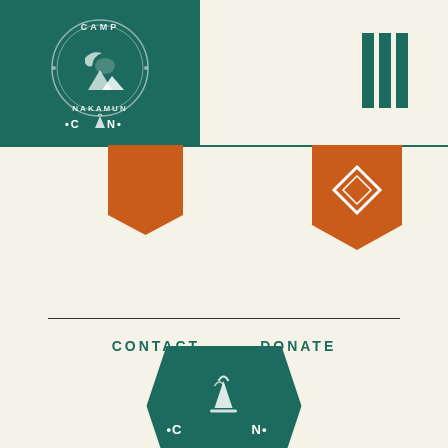[Figure (logo): Camp Nakamun circular logo with moose and moon, dark teal background, top-left header area]
[Figure (logo): Three vertical teal bars hamburger menu icon, top-right]
[Figure (logo): Orange downward arrow/chevron banner tab below left logo]
[Figure (logo): Orange downward arrow/chevron banner tab with diamond icon, center-right below header line]
CONTACT    DONATE
[Figure (logo): Camp Nakamun hexagonal badge with campfire, dark teal, bottom center]